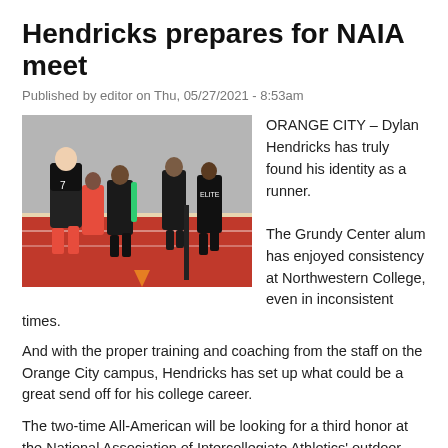Hendricks prepares for NAIA meet
Published by editor on Thu, 05/27/2021 - 8:53am
[Figure (photo): Runners on an indoor track, with Dylan Hendricks in a black uniform with red shorts leading the pack.]
ORANGE CITY – Dylan Hendricks has truly found his identity as a runner.

The Grundy Center alum has enjoyed consistency at Northwestern College, even in inconsistent times.
And with the proper training and coaching from the staff on the Orange City campus, Hendricks has set up what could be a great send off for his college career.
The two-time All-American will be looking for a third honor at the National Association of Intercollegiate Athletics' outdoor nationals meet at Mickey Miller Blackwell Stadium in Gulf Shores, Alabama, which began on Wednesday, May 26.